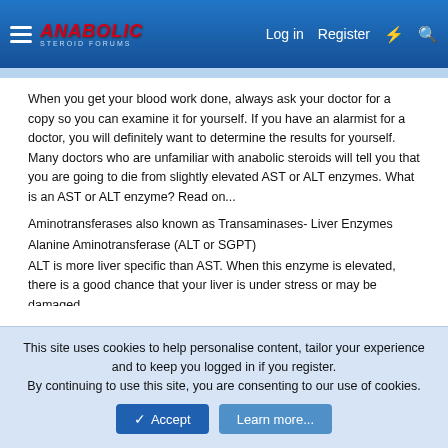Anabolic Steroid Forums — Log in | Register
When you get your blood work done, always ask your doctor for a copy so you can examine it for yourself. If you have an alarmist for a doctor, you will definitely want to determine the results for yourself. Many doctors who are unfamiliar with anabolic steroids will tell you that you are going to die from slightly elevated AST or ALT enzymes. What is an AST or ALT enzyme? Read on...
Aminotransferases also known as Transaminases- Liver Enzymes
Alanine Aminotransferase (ALT or SGPT)
ALT is more liver specific than AST. When this enzyme is elevated, there is a good chance that your liver is under stress or may be damaged.
There are only low concentrations of this enzyme in skeletal muscles and in the kidney. This enzyme has one is said to be a high 'specificity' for liver stress/strain.
Aspartate Aminotransferase (AST or SGOT)
AST is found more abundantly in the kidney and in skeletal muscle, brain and red blood cells. For...
This site uses cookies to help personalise content, tailor your experience and to keep you logged in if you register.
By continuing to use this site, you are consenting to our use of cookies.